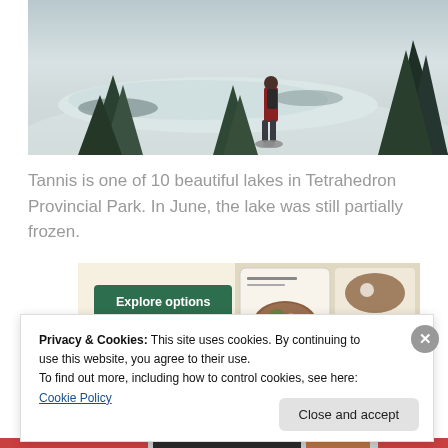[Figure (photo): A person standing on snowshoes overlooking a frozen or partially frozen lake in a winter mountain scene with evergreen trees, viewed from behind. Snow covers the ground and the landscape.]
Tannis is one of 10 beautiful lakes in Tetrahedron Provincial Park. In June, the lake was still partially frozen.
[Figure (screenshot): Advertisement or promotional banner with a green 'Explore options' button on a beige background, with food/recipe images on the right side.]
Privacy & Cookies: This site uses cookies. By continuing to use this website, you agree to their use. To find out more, including how to control cookies, see here: Cookie Policy